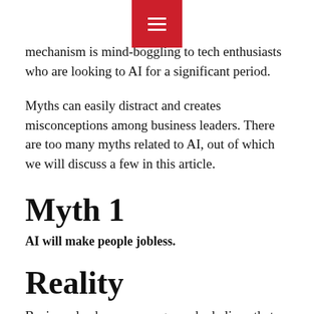☰
mechanism is mind-boggling to tech enthusiasts who are looking to AI for a significant period.
Myths can easily distract and creates misconceptions among business leaders. There are too many myths related to AI, out of which we will discuss a few in this article.
Myth 1
AI will make people jobless.
Reality
Business leaders or managers who believe that AI will take people's jobs away hesitate to step into the innovative automated world.